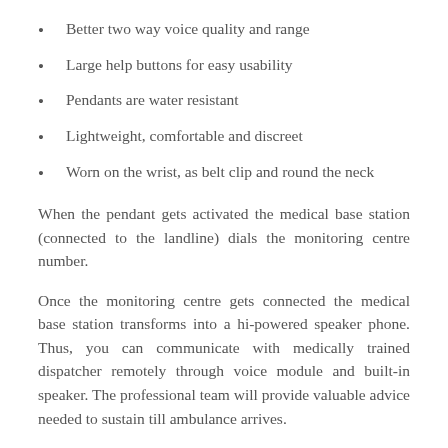Better two way voice quality and range
Large help buttons for easy usability
Pendants are water resistant
Lightweight, comfortable and discreet
Worn on the wrist, as belt clip and round the neck
When the pendant gets activated the medical base station (connected to the landline) dials the monitoring centre number.
Once the monitoring centre gets connected the medical base station transforms into a hi-powered speaker phone. Thus, you can communicate with medically trained dispatcher remotely through voice module and built-in speaker. The professional team will provide valuable advice needed to sustain till ambulance arrives.